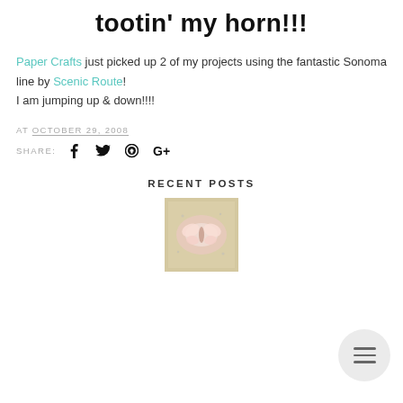tootin' my horn!!!
Paper Crafts just picked up 2 of my projects using the fantastic Sonoma line by Scenic Route!
I am jumping up & down!!!!
AT OCTOBER 29, 2008
SHARE: f (twitter) (pinterest) G+
RECENT POSTS
[Figure (photo): Small craft/scrapbook artwork thumbnail showing a pastel butterfly or floral design on a textured background]